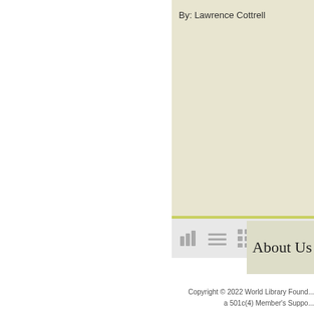By: Lawrence Cottrell
[Figure (screenshot): Toolbar with icons: bar chart, list, grid, and Tt text icons on a light gray background with a yellow-green divider above]
About Us
Copyright © 2022 World Library Found... a 501c(4) Member's Suppo...